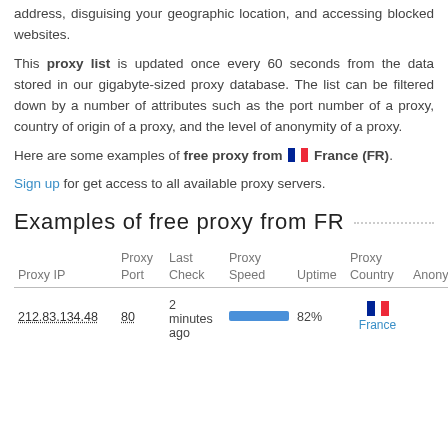address, disguising your geographic location, and accessing blocked websites.
This proxy list is updated once every 60 seconds from the data stored in our gigabyte-sized proxy database. The list can be filtered down by a number of attributes such as the port number of a proxy, country of origin of a proxy, and the level of anonymity of a proxy.
Here are some examples of free proxy from France (FR).
Sign up for get access to all available proxy servers.
Examples of free proxy from FR
| Proxy IP | Proxy Port | Last Check | Proxy Speed | Uptime | Proxy Country | Anony |
| --- | --- | --- | --- | --- | --- | --- |
| 212.83.134.48 | 80 | 2 minutes ago | [speed bar] | 82% | France |  |